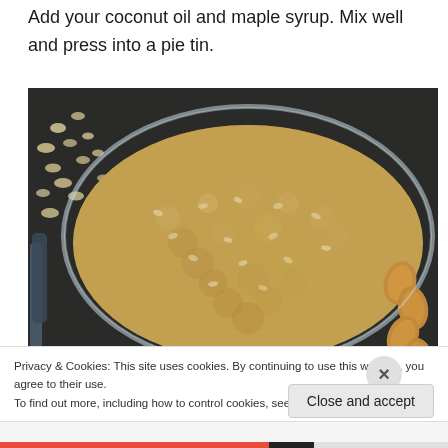Add your coconut oil and maple syrup. Mix well and press into a pie tin.
[Figure (photo): Overhead photo of a crumbly oat and almond pie crust pressed into a glass pie tin, with scattered oats and almonds on a dark slate surface, and a metal spoon visible on the left.]
Privacy & Cookies: This site uses cookies. By continuing to use this website, you agree to their use.
To find out more, including how to control cookies, see here: Cookie Policy